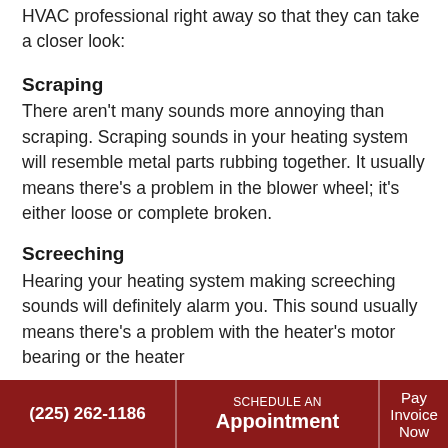HVAC professional right away so that they can take a closer look:
Scraping
There aren't many sounds more annoying than scraping. Scraping sounds in your heating system will resemble metal parts rubbing together. It usually means there's a problem in the blower wheel; it's either loose or complete broken.
Screeching
Hearing your heating system making screeching sounds will definitely alarm you. This sound usually means there's a problem with the heater's motor bearing or the heater
(225) 262-1186 | SCHEDULE AN Appointment | Pay Invoice Now